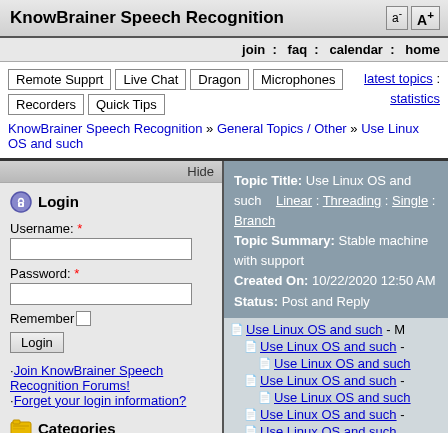KnowBrainer Speech Recognition
join : faq : calendar : home
Remote Supprt | Live Chat | Dragon | Microphones | Recorders | Quick Tips
latest topics : statistics
KnowBrainer Speech Recognition » General Topics / Other » Use Linux OS and such
Hide
Login
Username: *
Password: *
Remember
Login
·Join KnowBrainer Speech Recognition Forums! ·Forget your login information?
Categories
KnowBrainer Software and Support
Topic Title: Use Linux OS and such  Linear : Threading : Single : Branch
Topic Summary: Stable machine with support
Created On: 10/22/2020 12:50 AM
Status: Post and Reply
Use Linux OS and such - M
Use Linux OS and such -
Use Linux OS and such
Use Linux OS and such -
Use Linux OS and such
Use Linux OS and such -
Use Linux OS and such